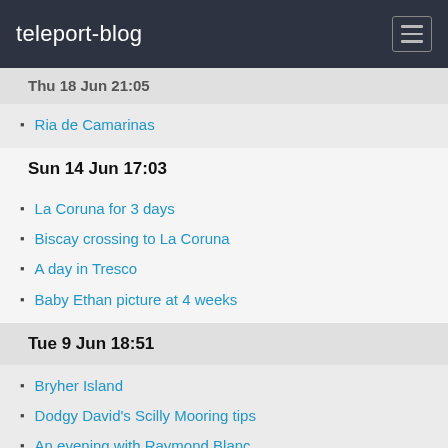teleport-blog
Thu 18 Jun 21:05
Ria de Camarinas
Sun 14 Jun 17:03
La Coruna for 3 days
Biscay crossing to La Coruna
A day in Tresco
Baby Ethan picture at 4 weeks
Tue 9 Jun 18:51
Bryher Island
Dodgy David's Scilly Mooring tips
An evening with Raymond Blanc
Dodgy David's Weather Techie Tip
Sun 7 Jun 15:52
Sister Caroline arrives in the Scilly's
Fri 5 Jun 17:10
A day in The Isles of Scilly
Wed 3 Jun 17:45